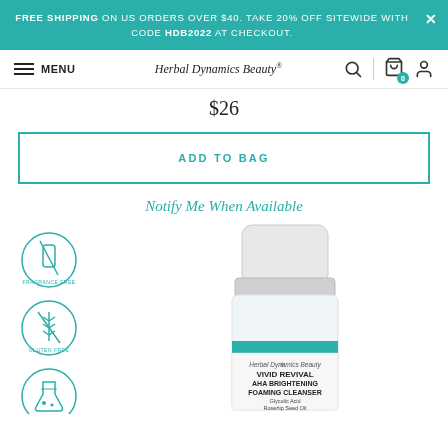FREE SHIPPING ON US ORDERS OVER $40. TAKE 20% OFF SITEWIDE WITH CODE HDB2022 AT CHECKOUT.
MENU | Herbal Dynamics Beauty®
$26
ADD TO BAG
Notify Me When Available
[Figure (photo): Product bottle of Vivid Revival AHA Brightening Foaming Cleanser by Herbal Dynamics Beauty with fragrance-free, gluten-free, clean beauty, and vegan badge icons on the left side]